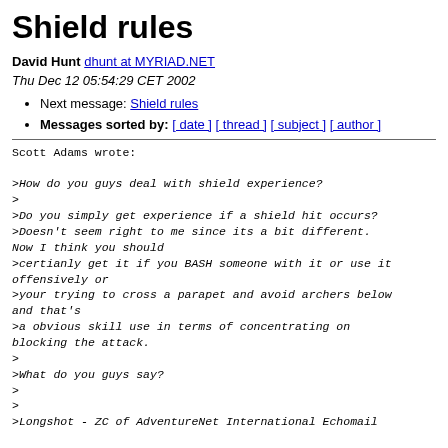Shield rules
David Hunt dhunt at MYRIAD.NET
Thu Dec 12 05:54:29 CET 2002
Next message: Shield rules
Messages sorted by: [ date ] [ thread ] [ subject ] [ author ]
Scott Adams wrote:

>How do you guys deal with shield experience?
>
>Do you simply get experience if a shield hit occurs?
>Doesn't seem right to me since its a bit different. Now I think you should
>certianly get it if you BASH someone with it or use it offensively or
>your trying to cross a parapet and avoid archers below and that's
>a obvious skill use in terms of concentrating on blocking the attack.
>
>What do you guys say?
>
>
>Longshot - ZC of AdventureNet International Echomail